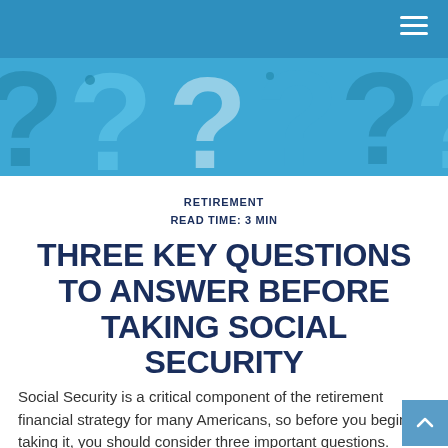[Figure (illustration): Blue banner with large question mark symbols in various shades of blue as a decorative background image]
RETIREMENT
READ TIME: 3 MIN
THREE KEY QUESTIONS TO ANSWER BEFORE TAKING SOCIAL SECURITY
Social Security is a critical component of the retirement financial strategy for many Americans, so before you begin taking it, you should consider three important questions.